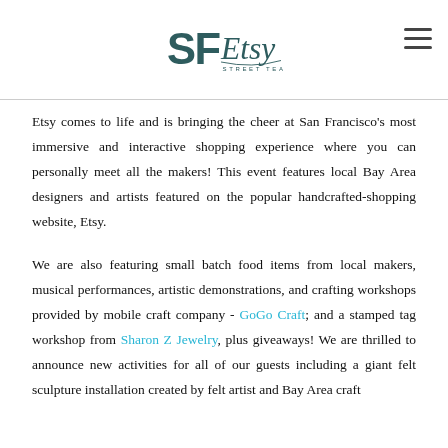SF Etsy Street Team
Etsy comes to life and is bringing the cheer at San Francisco's most immersive and interactive shopping experience where you can personally meet all the makers! This event features local Bay Area designers and artists featured on the popular handcrafted-shopping website, Etsy.
We are also featuring small batch food items from local makers, musical performances, artistic demonstrations, and crafting workshops provided by mobile craft company - GoGo Craft; and a stamped tag workshop from Sharon Z Jewelry, plus giveaways! We are thrilled to announce new activities for all of our guests including a giant felt sculpture installation created by felt artist and Bay Area craft